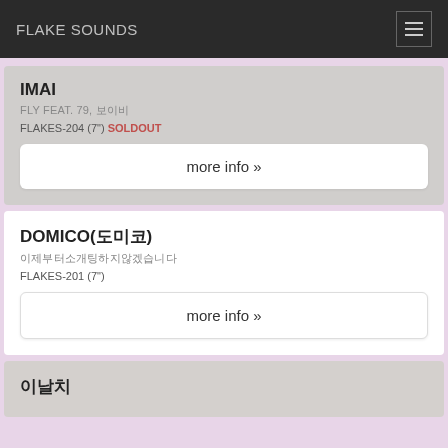FLAKE SOUNDS
IMAI
FLY FEAT. 79, 보이비
FLAKES-204 (7") SOLDOUT
more info »
DOMICO(도미코)
이제부터소개팅하지않겠습니다
FLAKES-201 (7")
more info »
이날치